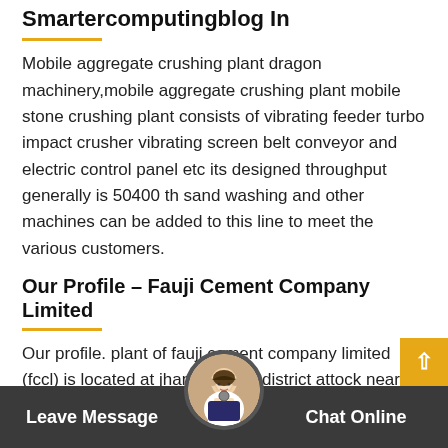Smartercomputingblog In
Mobile aggregate crushing plant dragon machinery,mobile aggregate crushing plant mobile stone crushing plant consists of vibrating feeder turbo impact crusher vibrating screen belt conveyor and electric control panel etc its designed throughput generally is 50400 th sand washing and other machines can be added to this line to meet the various customers.
Our Profile – Fauji Cement Company Limited
Our profile. plant of fauji cement company limited (fccl) is located at jhang bahtar, district attock near islamabad. the company is one of the leading producer of a wide range of quality cement including ordinary portland cement and other special cement (s) in pakistan. incorporated as a public limited company, it